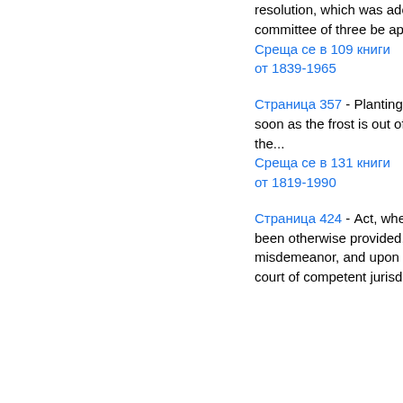resolution, which was adopted : Resolved, That a committee of three be appointed by the...
Среща се в 109 книги от 1839-1965
Страница 357 - Planting should be undertaken as soon as the frost is out of the ground in the spring, the...
Среща се в 131 книги от 1819-1990
Страница 424 - Act, where a punishment has not been otherwise provided, shall be guilty of a misdemeanor, and upon conviction thereof by any court of competent jurisdiction